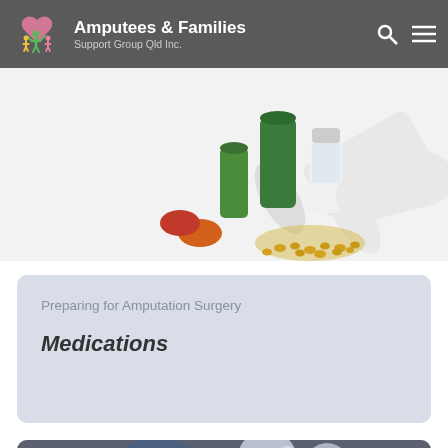Amputees & Families Support Group Qld Inc.
[Figure (photo): Photo of multiple medication bottles and pill containers with yellow pills spilled out on a white surface]
Preparing for Amputation Surgery
Medications
[Figure (photo): Photo of a surgeon in operating room with bright surgical lights in the background]